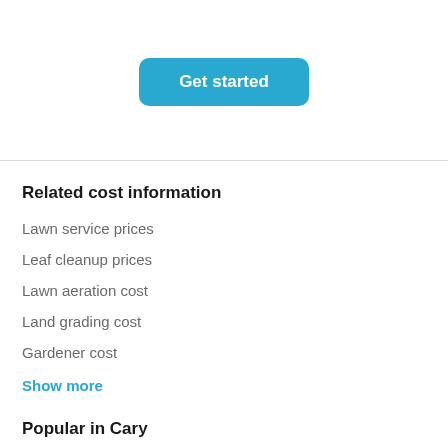[Figure (other): Blue rounded rectangle button with white bold text 'Get started']
Related cost information
Lawn service prices
Leaf cleanup prices
Lawn aeration cost
Land grading cost
Gardener cost
Show more
Popular in Cary
House cleaning Cary
Personal trainers Cary